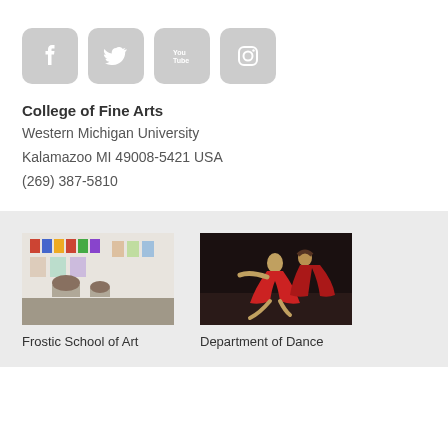[Figure (infographic): Social media icons: Facebook, Twitter, YouTube, Instagram — gray rounded square buttons]
College of Fine Arts
Western Michigan University
Kalamazoo MI 49008-5421 USA
(269) 387-5810
[Figure (photo): Interior of an art gallery with colorful artwork on walls and sculptures on a plinth — Frostic School of Art]
Frostic School of Art
[Figure (photo): Two dancers in red costumes performing on a dark stage — Department of Dance]
Department of Dance